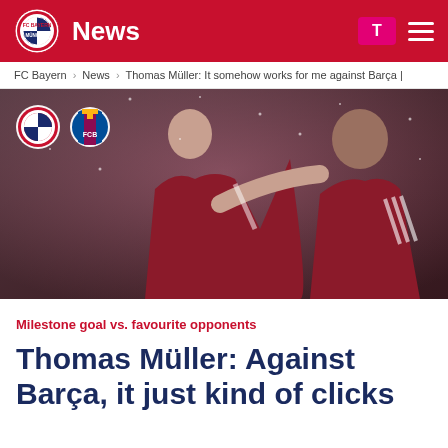News
FC Bayern › News › Thomas Müller: It somehow works for me against Barça |
[Figure (photo): Two FC Bayern München players in red jerseys — Thomas Müller pointing forward and Kingsley Coman beside him, in what appears to be a snowy Champions League match.]
Milestone goal vs. favourite opponents
Thomas Müller: Against Barça, it just kind of clicks